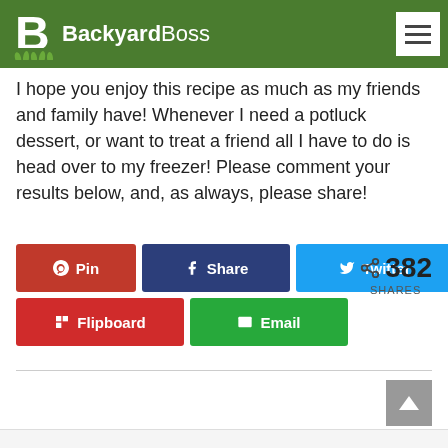BackyardBoss
I hope you enjoy this recipe as much as my friends and family have! Whenever I need a potluck dessert, or want to treat a friend all I have to do is head over to my freezer! Please comment your results below, and, as always, please share!
Pin | Share | Twitter | Flipboard | Email — 382 SHARES